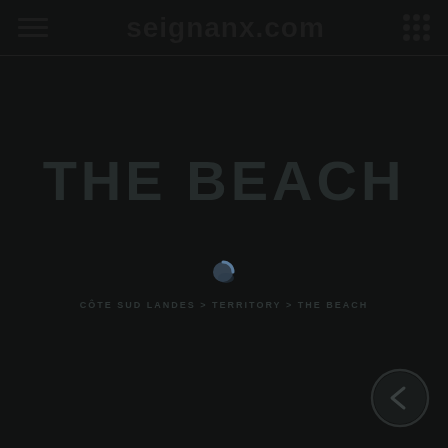seignanx.com
THE BEACH
[Figure (other): Loading spinner circle icon, small blue-grey circle with arc]
CÔTE SUD LANDES > TERRITORY > THE BEACH
[Figure (other): Circular back/navigate button with arrow icon, bottom right corner]